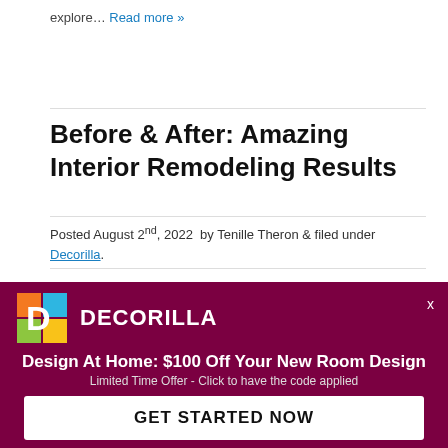explore… Read more »
Before & After: Amazing Interior Remodeling Results
Posted August 2nd, 2022  by Tenille Theron & filed under Decorilla.
[Figure (photo): Interior remodeling before/after photo showing wall tiles]
[Figure (logo): Decorilla logo — orange/teal/yellow D shape]
DECORILLA
Design At Home: $100 Off Your New Room Design
Limited Time Offer - Click to have the code applied
GET STARTED NOW